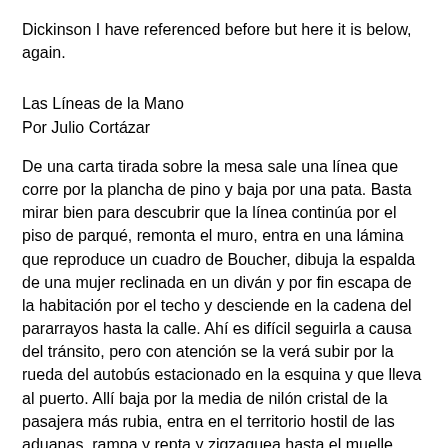Dickinson I have referenced before but here it is below, again.
Las Líneas de la Mano
Por Julio Cortázar
De una carta tirada sobre la mesa sale una línea que corre por la plancha de pino y baja por una pata. Basta mirar bien para descubrir que la línea continúa por el piso de parqué, remonta el muro, entra en una lámina que reproduce un cuadro de Boucher, dibuja la espalda de una mujer reclinada en un diván y por fin escapa de la habitación por el techo y desciende en la cadena del pararrayos hasta la calle. Ahí es difícil seguirla a causa del tránsito, pero con atención se la verá subir por la rueda del autobús estacionado en la esquina y que lleva al puerto. Allí baja por la media de nilón cristal de la pasajera más rubia, entra en el territorio hostil de las aduanas, rampa y repta y zigzaguea hasta el muelle mayor y allí (pero es difícil verla, sólo las ratas la siguen para trepar a bordo) sube al barco de turbinas sonoras.